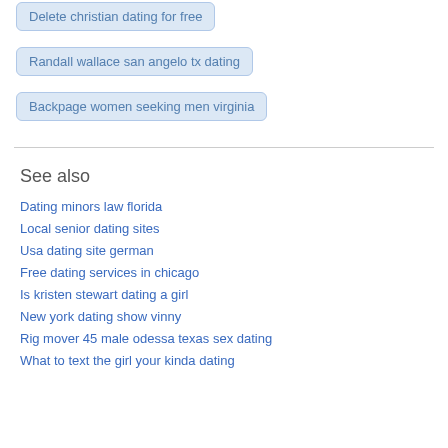Delete christian dating for free
Randall wallace san angelo tx dating
Backpage women seeking men virginia
See also
Dating minors law florida
Local senior dating sites
Usa dating site german
Free dating services in chicago
Is kristen stewart dating a girl
New york dating show vinny
Rig mover 45 male odessa texas sex dating
What to text the girl your kinda dating